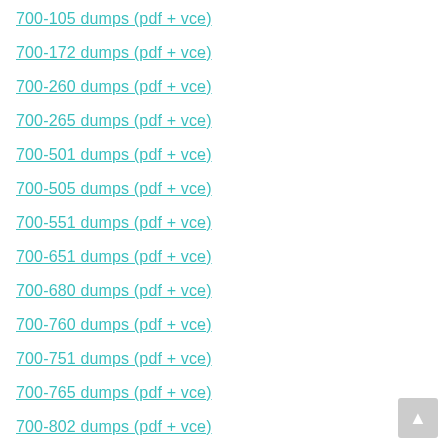700-105 dumps (pdf + vce)
700-172 dumps (pdf + vce)
700-260 dumps (pdf + vce)
700-265 dumps (pdf + vce)
700-501 dumps (pdf + vce)
700-505 dumps (pdf + vce)
700-551 dumps (pdf + vce)
700-651 dumps (pdf + vce)
700-680 dumps (pdf + vce)
700-760 dumps (pdf + vce)
700-751 dumps (pdf + vce)
700-765 dumps (pdf + vce)
700-802 dumps (pdf + vce)
700-901 dumps (pdf + vce)